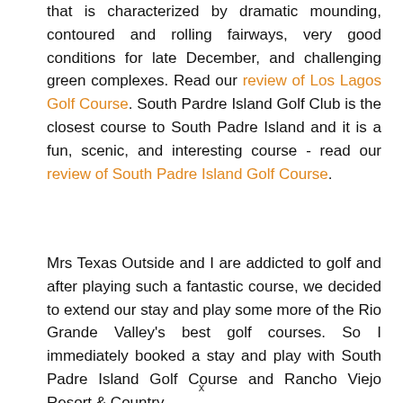that is characterized by dramatic mounding, contoured and rolling fairways, very good conditions for late December, and challenging green complexes. Read our review of Los Lagos Golf Course. South Padre Island Golf Club is the closest course to South Padre Island and it is a fun, scenic, and interesting course - read our review of South Padre Island Golf Course.
Mrs Texas Outside and I are addicted to golf and after playing such a fantastic course, we decided to extend our stay and play some more of the Rio Grande Valley's best golf courses. So I immediately booked a stay and play with South Padre Island Golf Course and Rancho Viejo Resort & Country
x